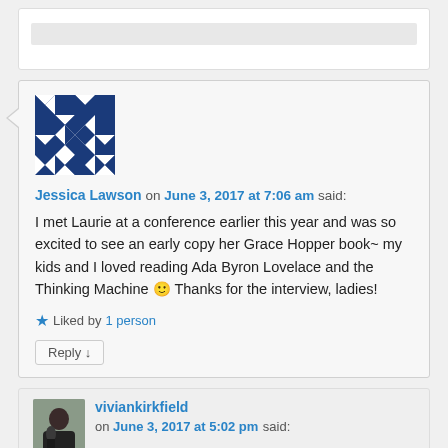[Figure (other): Partial top comment stub with grey placeholder bar]
Jessica Lawson on June 3, 2017 at 7:06 am said:
I met Laurie at a conference earlier this year and was so excited to see an early copy her Grace Hopper book~ my kids and I loved reading Ada Byron Lovelace and the Thinking Machine 🙂 Thanks for the interview, ladies!
★ Liked by 1 person
Reply ↓
viviankirkfield on June 3, 2017 at 5:02 pm said: